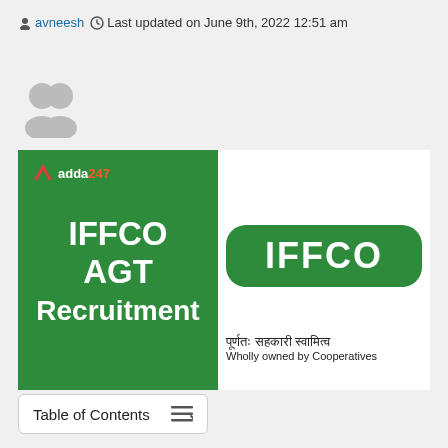avneesh  Last updated on June 9th, 2022 12:51 am
[Figure (illustration): Gray user avatar icon showing two overlapping person silhouettes]
[Figure (infographic): IFFCO AGT Recruitment banner image. Left panel: dark green background with white bold text reading IFFCO AGT Recruitment and Adda247 logo. Right panel: white background with IFFCO logo in green rounded rectangle and text in Devanagari and English: Wholly owned by Cooperatives.]
Table of Contents